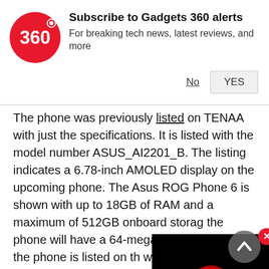[Figure (infographic): Gadgets 360 subscription notification banner with logo, title 'Subscribe to Gadgets 360 alerts', subtitle 'For breaking tech news, latest reviews, and more', with No and YES buttons]
The phone was previously listed on TENAA with just the specifications. It is listed with the model number ASUS_AI2201_B. The listing indicates a 6.78-inch AMOLED display on the upcoming phone. The Asus ROG Phone 6 is shown with up to 18GB of RAM and a maximum of 512GB onboard storage the phone will have a 64-megapixel For selfies, the phone is listed on th with a 12-megapixel front camera. It 6,000mAh battery. The Asus ROG Phone 6 is said to feature an in-display fingerprint sensor as well. It could measure 172.834×77.252×10.39mm and weigh 229
[Figure (screenshot): Black video player overlay with red play button icon]
[Figure (other): Grey scroll-to-top circular button with upward chevron]